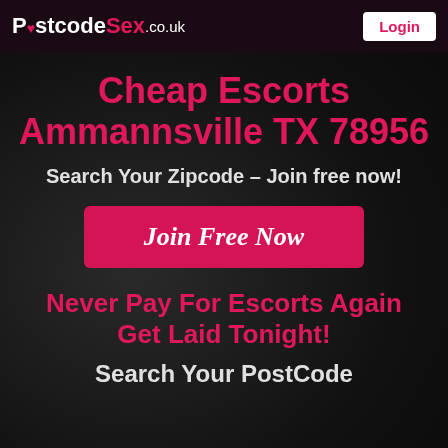PostcodeSex.co.uk | Login
Cheap Escorts Ammannsville TX 78956
Search Your Zipcode – Join free now!
Join Free Now
Never Pay For Escorts Again Get Laid Tonight!
Search Your PostCode